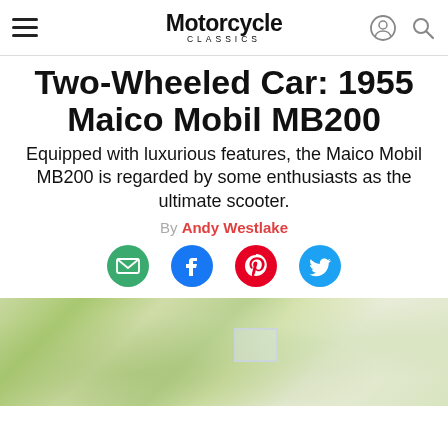Motorcycle Classics
Two-Wheeled Car: 1955 Maico Mobil MB200
Equipped with luxurious features, the Maico Mobil MB200 is regarded by some enthusiasts as the ultimate scooter.
By Andy Westlake
[Figure (photo): Outdoor photo with green foliage and a building in the background]
[Figure (infographic): Social sharing icons: email (green), Facebook (blue), Pinterest (red), Twitter (blue)]